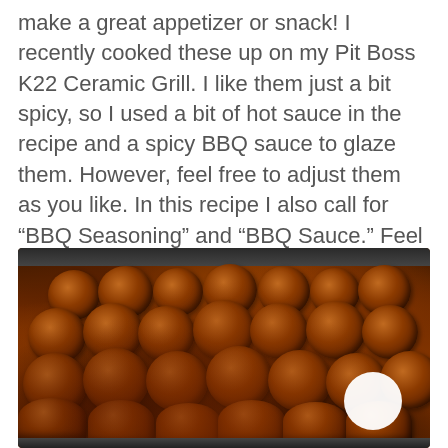make a great appetizer or snack! I recently cooked these up on my Pit Boss K22 Ceramic Grill. I like them just a bit spicy, so I used a bit of hot sauce in the recipe and a spicy BBQ sauce to glaze them. However, feel free to adjust them as you like. In this recipe I also call for “BBQ Seasoning” and “BBQ Sauce.” Feel free to use your favorite types. You can also use my recipe for Sweet Memphis BBQ Rub.
[Figure (photo): A pan of BBQ glazed meatballs with a shiny brown-orange sauce, viewed from above, with a white circular watermark in the lower right.]